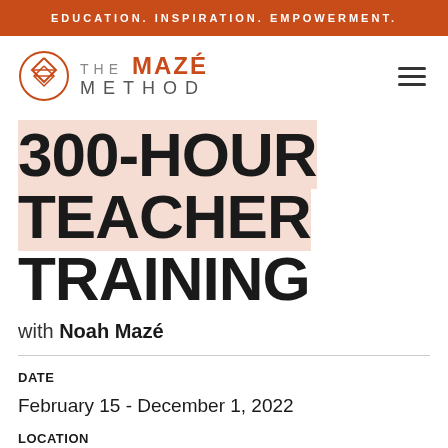EDUCATION. INSPIRATION. EMPOWERMENT.
[Figure (logo): The Mazé Method logo with circular geometric icon and text 'THE MAZÉ METHOD']
300-HOUR TEACHER TRAINING
with Noah Mazé
DATE
February 15 - December 1, 2022
LOCATION